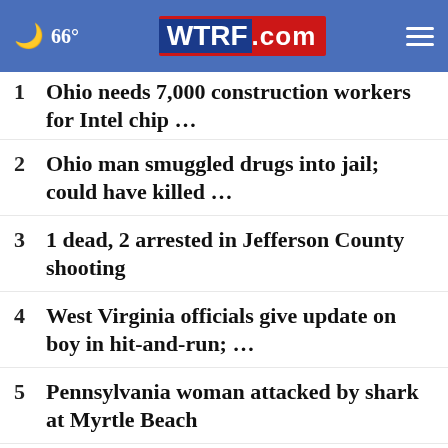66° WTRF.com
1 Ohio needs 7,000 construction workers for Intel chip …
2 Ohio man smuggled drugs into jail; could have killed …
3 1 dead, 2 arrested in Jefferson County shooting
4 West Virginia officials give update on boy in hit-and-run; …
5 Pennsylvania woman attacked by shark at Myrtle Beach
6 Ohio teacher pleads not guilty to rape charge
7 West Virginia deputies search for